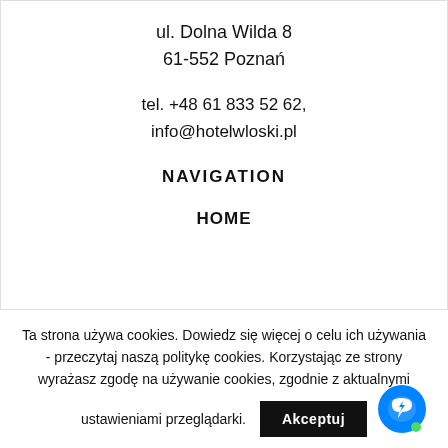ul. Dolna Wilda 8
61-552 Poznań
tel. +48 61 833 52 62,
info@hotelwloski.pl
NAVIGATION
HOME
Ta strona używa cookies. Dowiedz się więcej o celu ich używania - przeczytaj naszą politykę cookies. Korzystając ze strony wyrażasz zgodę na używanie cookies, zgodnie z aktualnymi ustawieniami przeglądarki.
Akceptuj